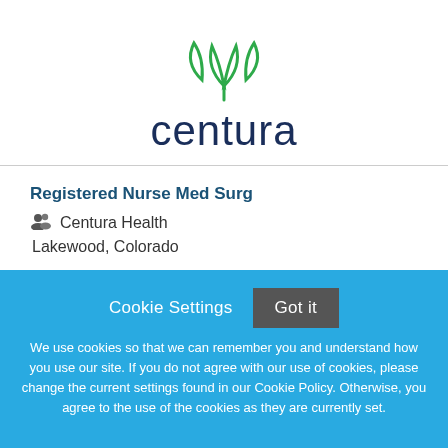[Figure (logo): Centura Health logo with green leaf/flower SVG graphic above the word 'centura' in dark navy blue text]
Registered Nurse Med Surg
Centura Health
Lakewood, Colorado
Cookie Settings  Got it
We use cookies so that we can remember you and understand how you use our site. If you do not agree with our use of cookies, please change the current settings found in our Cookie Policy. Otherwise, you agree to the use of the cookies as they are currently set.